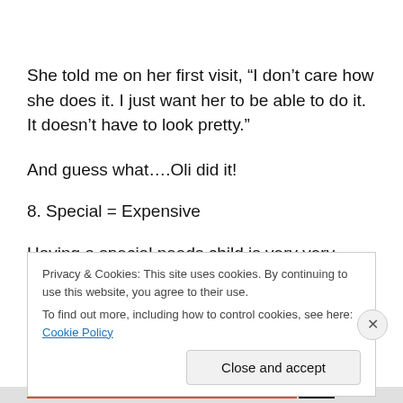She told me on her first visit, “I don’t care how she does it. I just want her to be able to do it. It doesn’t have to look pretty.”
And guess what….Oli did it!
8. Special = Expensive
Having a special needs child is very very expensive. I had
Privacy & Cookies: This site uses cookies. By continuing to use this website, you agree to their use.
To find out more, including how to control cookies, see here: Cookie Policy